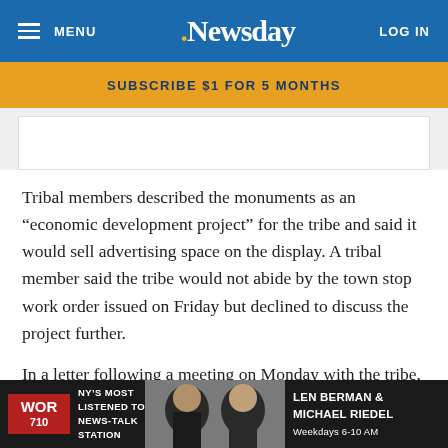MENU  .Newsday  LOG IN
SUBSCRIBE $1 FOR 5 MONTHS
[Figure (other): Empty white placeholder image area]
Tribal members described the monuments as an “economic development project” for the tribe and said it would sell advertising space on the display. A tribal member said the tribe would not abide by the town stop work order issued on Friday but declined to discuss the project further.
In a letter following a meeting on Monday with the tribe, the town board acknowledged that Southampton does not have clear legal standing on the land but implored to tribe to halt
[Figure (photo): WOR 710 radio advertisement banner: NY’s Most Listened to News-Talk Station, featuring photos of Len Berman & Michael Riedel, Weekdays 6-10 AM]